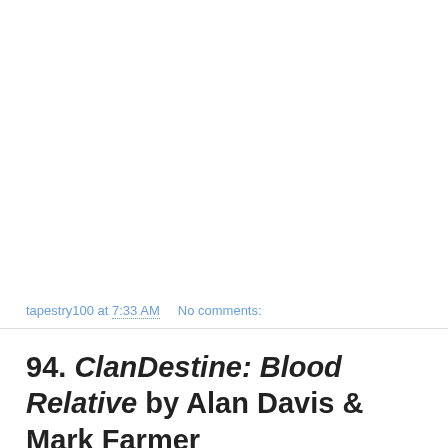tapestry100 at 7:33 AM    No comments:
94. ClanDestine: Blood Relative by Alan Davis & Mark Farmer
#94